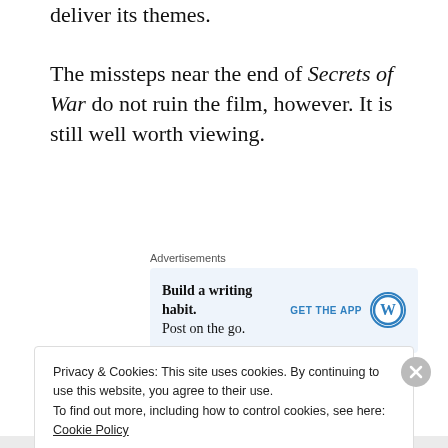deliver its themes.

The missteps near the end of Secrets of War do not ruin the film, however. It is still well worth viewing.
[Figure (infographic): Advertisement banner for WordPress app: 'Build a writing habit. Post on the go.' with GET THE APP call to action and WordPress logo]
[Figure (illustration): Four film reel icons in dark teal/blue color, partially visible at bottom of content area]
Privacy & Cookies: This site uses cookies. By continuing to use this website, you agree to their use.
To find out more, including how to control cookies, see here: Cookie Policy
Close and accept